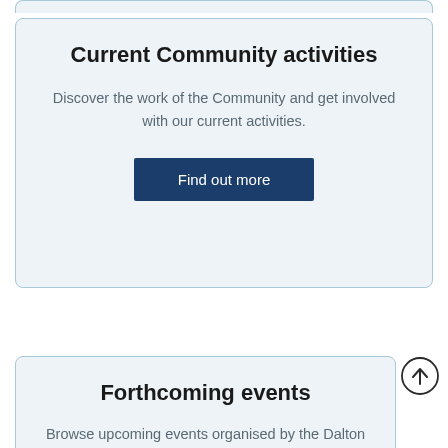Current Community activities
Discover the work of the Community and get involved with our current activities.
Find out more
Forthcoming events
Browse upcoming events organised by the Dalton Community.